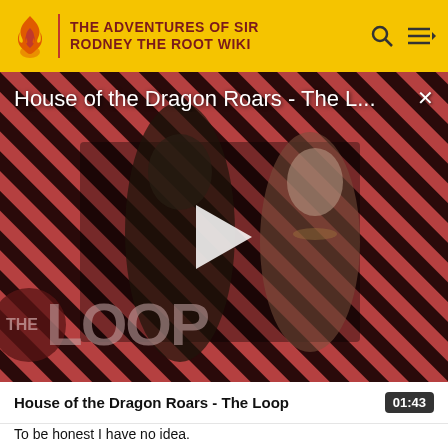THE ADVENTURES OF SIR RODNEY THE ROOT WIKI
[Figure (screenshot): Video thumbnail showing House of the Dragon characters against a red and black diagonal stripe background with THE LOOP logo overlay and a play button in the center. Title text reads 'House of the Dragon Roars - The L...' with a close X button.]
House of the Dragon Roars - The Loop   01:43
To be honest I have no idea.
DORA FAERIE